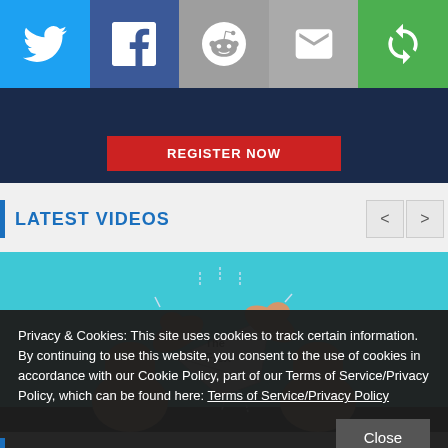[Figure (screenshot): Social media sharing bar with Twitter (blue), Facebook (dark blue), Reddit (grey), Email (grey), and a rotate/share icon (green) buttons]
[Figure (screenshot): Dark navy background banner with a red REGISTER NOW button]
LATEST VIDEOS
[Figure (illustration): Cartoon illustration showing two fingers pinching a paper airplane labeled 'The Flex' with muscular arms flexing, on a teal background]
Privacy & Cookies: This site uses cookies to track certain information. By continuing to use this website, you consent to the use of cookies in accordance with our Cookie Policy, part of our Terms of Service/Privacy Policy, which can be found here: Terms of Service/Privacy Policy